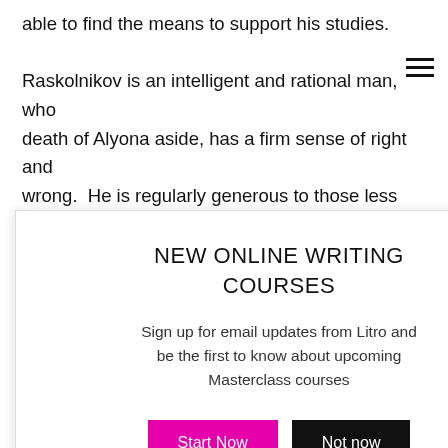able to find the means to support his studies.
Raskolnikov is an intelligent and rational man, who death of Alyona aside, has a firm sense of right and wrong. He is regularly generous to those less fortunate than himself. He is protective of his family. At one point, ...a young girl ...n personal ...ndoned child ...rest in his bed. ...ss affection for ...at he has a
NEW ONLINE WRITING COURSES
Sign up for email updates from Litro and be the first to know about upcoming Masterclass courses
...s not religion ...that the well-being of all is served not by faithful devotion to some...